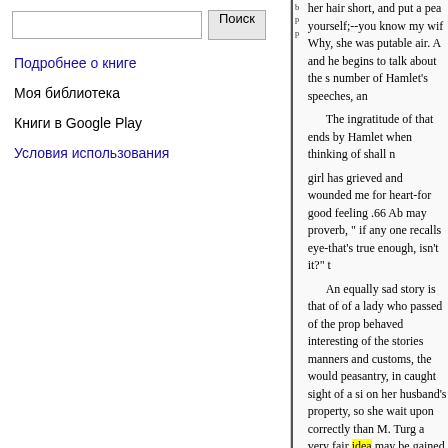[Figure (screenshot): Google Books interface: search bar with Поиск button, navigation links in Russian]
Подробнее о книге
Моя библиотека
Книги в Google Play
Условия использования
her hair short, and put a pea yourself;--you know my wif Why, she was putable air. A and he begins to talk about the s number of Hamlet's speeches, an The ingratitude of that ends by Hamlet when thinking of shall n girl has grieved and wounded me for heart-for good feeling .66 Ab may proverb, " if any one recalls eye-that's true enough, isn't it?" t An equally sad story is that of of a lady who passed of the prop behaved interesting of the stories manners and customs, the would peasantry, in caught sight of a si on her husband's property, so she wait upon correctly than M. Turg a very fair idea may be gained o for instance grew into a handsom principal attendant. The rest of th her master: cottage one night. Th